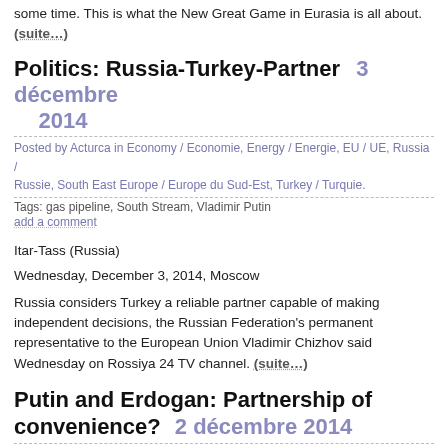some time. This is what the New Great Game in Eurasia is all about. (suite…)
Politics: Russia-Turkey-Partner   3 décembre 2014
Posted by Acturca in Economy / Economie, Energy / Energie, EU / UE, Russia / Russie, South East Europe / Europe du Sud-Est, Turkey / Turquie.
Tags: gas pipeline, South Stream, Vladimir Putin
add a comment
Itar-Tass (Russia)
Wednesday, December 3, 2014, Moscow
Russia considers Turkey a reliable partner capable of making independent decisions, the Russian Federation's permanent representative to the European Union Vladimir Chizhov said Wednesday on Rossiya 24 TV channel. (suite…)
Putin and Erdogan: Partnership of convenience?   2 décembre 2014
Posted by Acturca in Caucasus / Caucase, Economy / Economie, Energy / Ene, EU / UE, Russia / Russie, South East Europe / Europe du Sud-Est, Turkey / Tur
Tags: Dimitar Bechev, gas pipeline, Gazprom, Recep Tayyip Erdogan, South Stre, TANAP, Vladimir Putin
add a comment